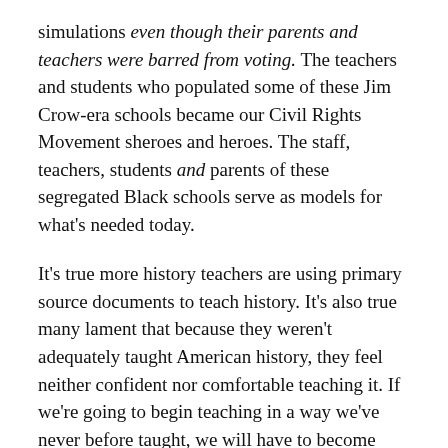simulations even though their parents and teachers were barred from voting. The teachers and students who populated some of these Jim Crow-era schools became our Civil Rights Movement sheroes and heroes. The staff, teachers, students and parents of these segregated Black schools serve as models for what's needed today.
It's true more history teachers are using primary source documents to teach history. It's also true many lament that because they weren't adequately taught American history, they feel neither confident nor comfortable teaching it. If we're going to begin teaching in a way we've never before taught, we will have to become comfortable being uncomfortable — until we find our sweet spot.
As a first step, we must acknowledge and understand our own relationship to American